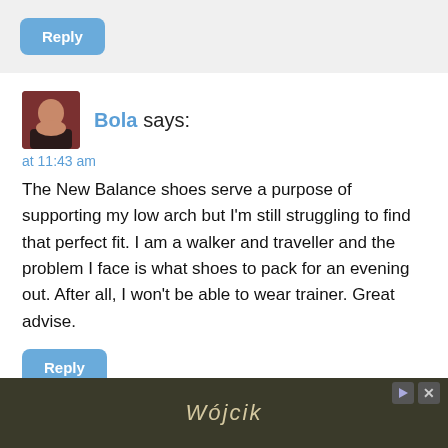Reply
Bola says:
at 11:43 am
The New Balance shoes serve a purpose of supporting my low arch but I'm still struggling to find that perfect fit. I am a walker and traveller and the problem I face is what shoes to pack for an evening out. After all, I won't be able to wear trainer. Great advise.
Reply
Denis Gaenen says:
[Figure (photo): Advertisement banner at bottom of page showing outdoor/garden scene with stylized logo text]